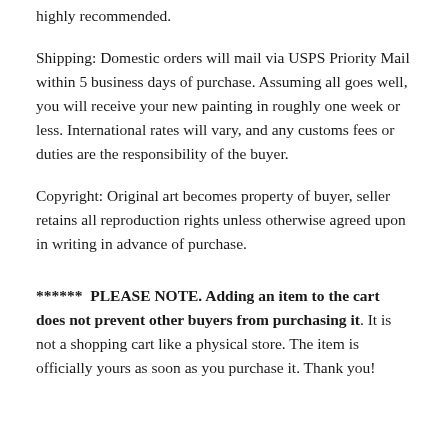highly recommended.
Shipping: Domestic orders will mail via USPS Priority Mail within 5 business days of purchase. Assuming all goes well, you will receive your new painting in roughly one week or less. International rates will vary, and any customs fees or duties are the responsibility of the buyer.
Copyright: Original art becomes property of buyer, seller retains all reproduction rights unless otherwise agreed upon in writing in advance of purchase.
****** PLEASE NOTE. Adding an item to the cart does not prevent other buyers from purchasing it. It is not a shopping cart like a physical store. The item is officially yours as soon as you purchase it. Thank you!